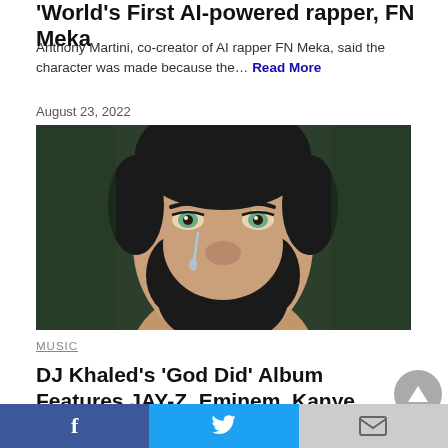World's First AI-powered rapper, FN Meka
Anthony Martini, co-creator of AI rapper FN Meka, said the character was made because the… Read More
August 23, 2022
[Figure (photo): Close-up photo of a man with dark beard looking upward with a tear on his cheek, against a dark green background]
MUSIC
DJ Khaled's 'God Did' Album Features JAY-Z, Eminem, Kanye West, & More